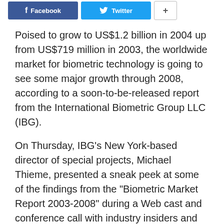Facebook  Twitter  +
Poised to grow to US$1.2 billion in 2004 up from US$719 million in 2003, the worldwide market for biometric technology is going to see some major growth through 2008, according to a soon-to-be-released report from the International Biometric Group LLC (IBG).
On Thursday, IBG’s New York-based director of special projects, Michael Thieme, presented a sneak peek at some of the findings from the “Biometric Market Report 2003-2008” during a Web cast and conference call with industry insiders and media.
Fingerprinting is currently the most widely-used biometric technology, accounting for US$350 million in revenues in 2004, IBG projects, with facial